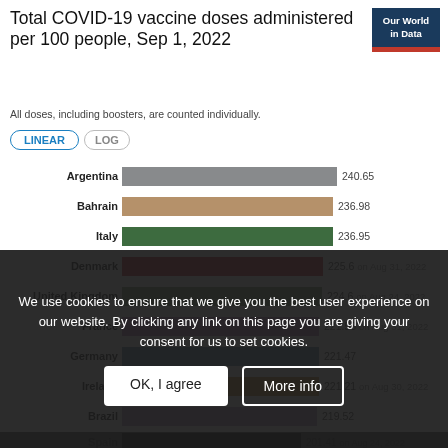Total COVID-19 vaccine doses administered per 100 people, Sep 1, 2022
All doses, including boosters, are counted individually.
[Figure (bar-chart): Total COVID-19 vaccine doses administered per 100 people, Sep 1, 2022]
We use cookies to ensure that we give you the best user experience on our website. By clicking any link on this page you are giving your consent for us to set cookies.
OK, I agree
More info